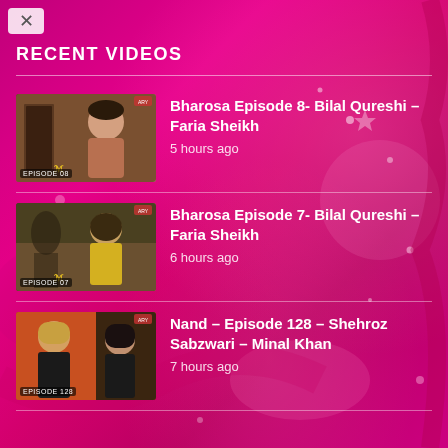RECENT VIDEOS
Bharosa Episode 8- Bilal Qureshi – Faria Sheikh
5 hours ago
Bharosa Episode 7- Bilal Qureshi – Faria Sheikh
6 hours ago
Nand – Episode 128 – Shehroz Sabzwari – Minal Khan
7 hours ago